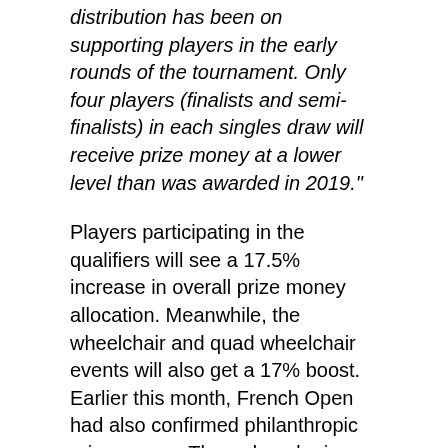distribution has been on supporting players in the early rounds of the tournament. Only four players (finalists and semi-finalists) in each singles draw will receive prize money at a lower level than was awarded in 2019."
Players participating in the qualifiers will see a 17.5% increase in overall prize money allocation. Meanwhile, the wheelchair and quad wheelchair events will also get a 17% boost. Earlier this month, French Open had also confirmed philanthropic prize money. The reduced prize money is largely due to the impact of the pandemic.
Wimbledon will also be the first outdoor sporting event in the UK that will be played with capacity crowds of 15,000 on Centre Court since the